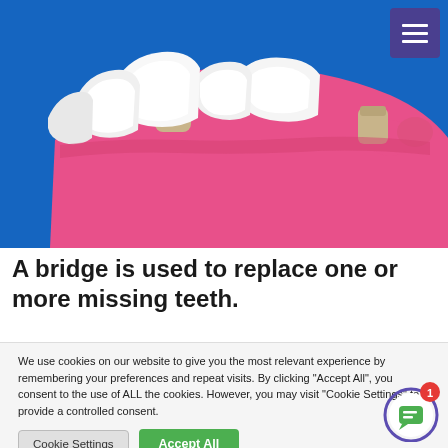[Figure (illustration): 3D dental illustration showing a lower jaw model with white teeth, two abutment stubs (tan/beige colored), and pink gum tissue on a blue background, demonstrating dental bridge preparation.]
A bridge is used to replace one or more missing teeth.
We use cookies on our website to give you the most relevant experience by remembering your preferences and repeat visits. By clicking "Accept All", you consent to the use of ALL the cookies. However, you may visit "Cookie Settings" to provide a controlled consent.